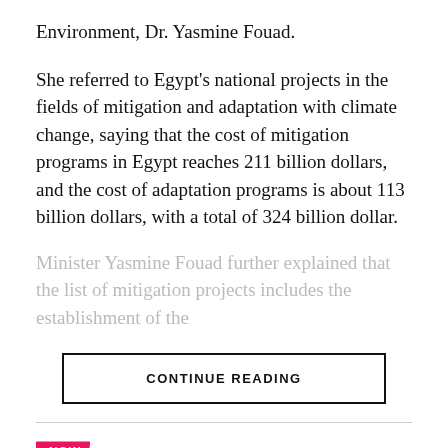Environment, Dr. Yasmine Fouad.
She referred to Egypt's national projects in the fields of mitigation and adaptation with climate change, saying that the cost of mitigation programs in Egypt reaches 211 billion dollars, and the cost of adaptation programs is about 113 billion dollars, with a total of 324 billion dollar.
Minister Yasmine Fouad further explained that the list of mitigation projects includes the establishment of the
CONTINUE READING
NOW
Allianz Egypt launches the first